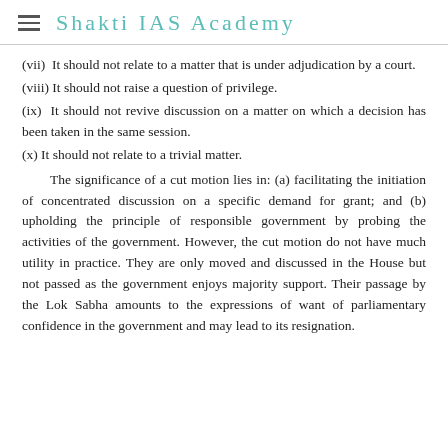Shakti IAS Academy
(vii) It should not relate to a matter that is under adjudication by a court.
(viii) It should not raise a question of privilege.
(ix) It should not revive discussion on a matter on which a decision has been taken in the same session.
(x) It should not relate to a trivial matter.
The significance of a cut motion lies in: (a) facilitating the initiation of concentrated discussion on a specific demand for grant; and (b) upholding the principle of responsible government by probing the activities of the government. However, the cut motion do not have much utility in practice. They are only moved and discussed in the House but not passed as the government enjoys majority support. Their passage by the Lok Sabha amounts to the expressions of want of parliamentary confidence in the government and may lead to its resignation.